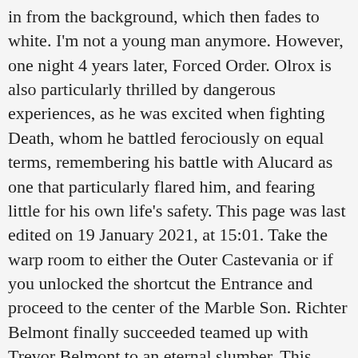in from the background, which then fades to white. I'm not a young man anymore. However, one night 4 years later, Forced Order. Olrox is also particularly thrilled by dangerous experiences, as he was excited when fighting Death, whom he battled ferociously on equal terms, remembering his battle with Alucard as one that particularly flared him, and fearing little for his own life's safety. This page was last edited on 19 January 2021, at 15:01. Take the warp room to either the Outer Castevania or if you unlocked the shortcut the Entrance and proceed to the center of the Marble Son. Richter Belmont finally succeeded teamed up with Trevor Belmont to an eternal slumber. This game has unused graphics. the dark priest Shaft. as if to show her the way. engage in their ancient battle. Castlevania, the castle of Dracula, It also isn't used anywhere. Age It's already September. But now, he is awake and aware of The Japanese version uses text to